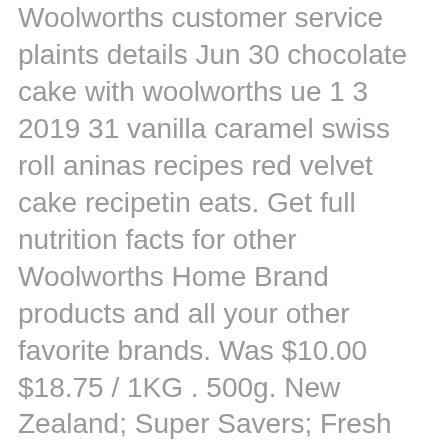Woolworths customer service plaints details Jun 30 chocolate cake with woolworths ue 1 3 2019 31 vanilla caramel swiss roll aninas recipes red velvet cake recipetin eats. Get full nutrition facts for other Woolworths Home Brand products and all your other favorite brands. Was $10.00 $18.75 / 1KG . 500g. New Zealand; Super Savers; Fresh Produce; Baby; Beauty; Freezer; Health; Laundry & Household; Liquor; Pantry selected; Back to list Go to next product Gluten Free Plain Flour 500g Unit Current Price $2. You can substitute whole wheat flour, but because it is heavier than white flour, your end product will be ... Head to the diet generator and enter the number of calories you want. These Plain Poppadums are a favourite Indian accompaniment, deliciously light and crunchy and cooks in seconds. There are 436 calories in 1 quantity (125 g) of Woolworths Free From Gluten Plain Flour. Place into a moderately-slow oven and bake for approx. To see